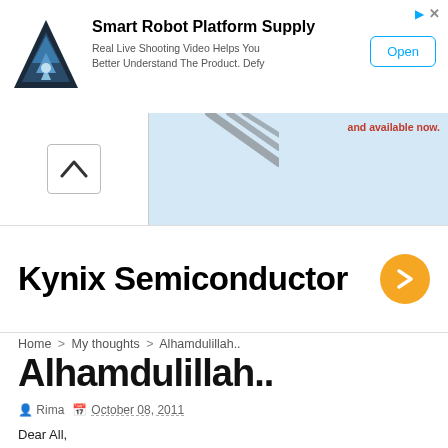[Figure (other): Advertisement banner for Smart Robot Platform Supply with logo, text, and Open button]
[Figure (other): Secondary advertisement strip with chevron up arrow and 'and available now.' text]
[Figure (other): Kynix Semiconductor advertisement with orange arrow button]
Home > My thoughts > Alhamdulillah..
Alhamdulillah..
Rima  October 08, 2011
Dear All,

Thank you for your wonderful thoughts and messages... thanks for your concern and worries.. both here, by email, by sms and on FB...